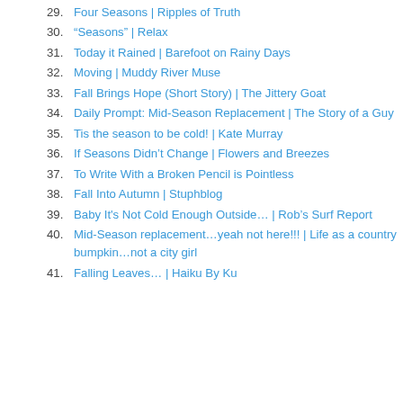29. Four Seasons | Ripples of Truth
30. “Seasons” | Relax
31. Today it Rained | Barefoot on Rainy Days
32. Moving | Muddy River Muse
33. Fall Brings Hope (Short Story) | The Jittery Goat
34. Daily Prompt: Mid-Season Replacement | The Story of a Guy
35. Tis the season to be cold! | Kate Murray
36. If Seasons Didn’t Change | Flowers and Breezes
37. To Write With a Broken Pencil is Pointless
38. Fall Into Autumn | Stuphblog
39. Baby It's Not Cold Enough Outside… | Rob’s Surf Report
40. Mid-Season replacement…yeah not here!!! | Life as a country bumpkin…not a city girl
41. Falling Leaves… | Haiku By Ku